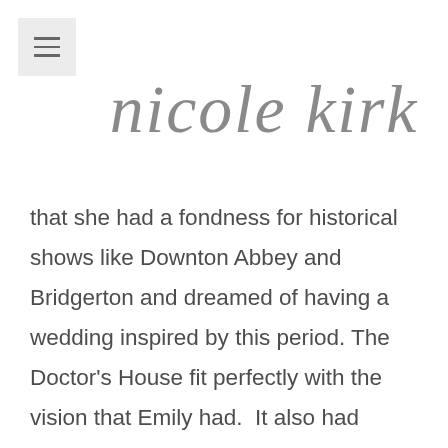[Figure (logo): Cursive script logo reading 'nicole kirk' in elegant gray calligraphy]
that she had a fondness for historical shows like Downton Abbey and Bridgerton and dreamed of having a wedding inspired by this period. The Doctor's House fit perfectly with the vision that Emily had.  It also had everything in one location, with the chapel and reception room all in one